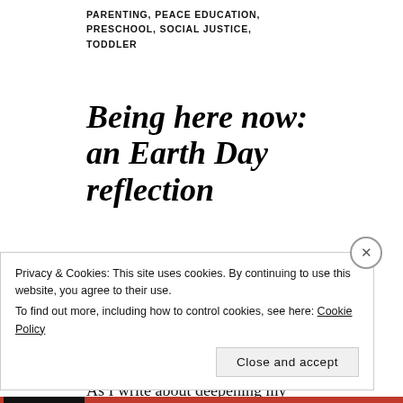PARENTING, PEACE EDUCATION, PRESCHOOL, SOCIAL JUSTICE, TODDLER
Being here now: an Earth Day reflection
APRIL 22, 2019 | MEGHAN | CLIMATE CHANGE, CLIMATE GRIEF, EARTH DAY, ENVIRONMENT, FAMILY LIFE, MONTESSORI | 1 COMMENT
As I write about deepening my practice of Montessori philosophy and
Privacy & Cookies: This site uses cookies. By continuing to use this website, you agree to their use. To find out more, including how to control cookies, see here: Cookie Policy
Close and accept